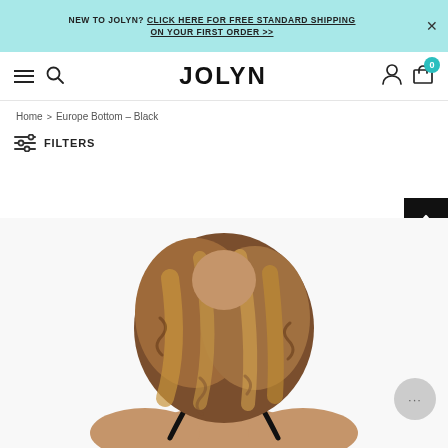NEW TO JOLYN? CLICK HERE FOR FREE STANDARD SHIPPING ON YOUR FIRST ORDER >>
JOLYN
Home > Europe Bottom - Black
FILTERS
[Figure (photo): Back view of a woman with wavy blonde-brown hair wearing a black swimsuit/bikini top, product photo for Europe Bottom - Black by JOLYN]